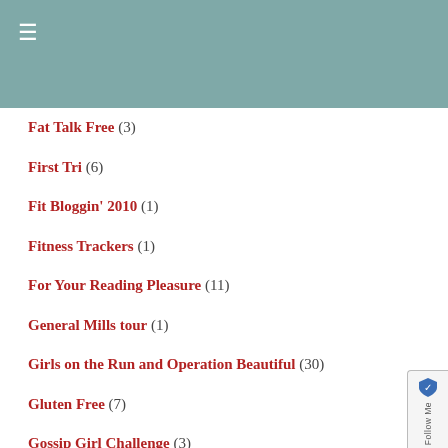≡
Fat Talk Free (3)
First Tri (6)
Fit Bloggin' 2010 (1)
Fitness Trackers (1)
For Your Reading Pleasure (11)
General Mills tour (1)
Girls on the Run and Operation Beautiful (30)
Gluten Free (7)
Gossip Girl Challenge (3)
Great Smokey Mountains Trip (4)
Green Living (4)
Groceries (1)
Half Ironman (2)
Halloween Costumes for Runners (2)